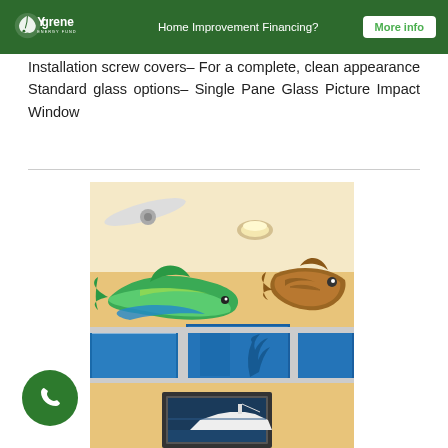Ygrene Energy Fund — Home Improvement Financing? More info
Installation screw covers– For a complete, clean appearance Standard glass options– Single Pane Glass Picture Impact Window
[Figure (photo): Interior room photo showing decorative mounted fish (mahi-mahi and bass/grouper) near the ceiling above blue picture impact windows, with a framed boat photograph hanging on a yellow-orange wall. A ceiling fan is partially visible at the top left.]